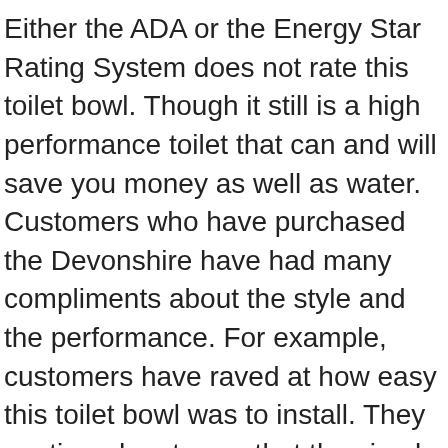Either the ADA or the Energy Star Rating System does not rate this toilet bowl. Though it still is a high performance toilet that can and will save you money as well as water. Customers who have purchased the Devonshire have had many compliments about the style and the performance. For example, customers have raved at how easy this toilet bowl was to install. They continued on to say that the simple touch of the flush handle was much nicer than the units they were using before.
The Kohler Devonshire Elongated Toilet Bowl is available in both White and Wild Rose. Kohler offers a one-year warranty that starts the date the toilet is installed.